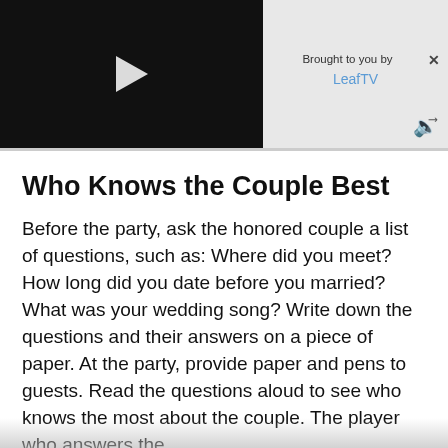[Figure (screenshot): Video player with black background and white play button triangle]
Brought to you by LeafTV
Who Knows the Couple Best
Before the party, ask the honored couple a list of questions, such as: Where did you meet? How long did you date before you married? What was your wedding song? Write down the questions and their answers on a piece of paper. At the party, provide paper and pens to guests. Read the questions aloud to see who knows the most about the couple. The player who answers the